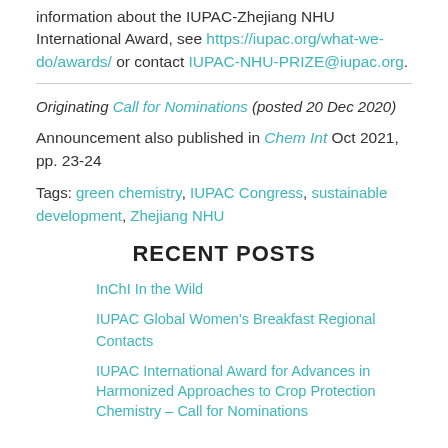information about the IUPAC-Zhejiang NHU International Award, see https://iupac.org/what-we-do/awards/ or contact IUPAC-NHU-PRIZE@iupac.org.
Originating Call for Nominations (posted 20 Dec 2020)
Announcement also published in Chem Int Oct 2021, pp. 23-24
Tags: green chemistry, IUPAC Congress, sustainable development, Zhejiang NHU
RECENT POSTS
InChI In the Wild
IUPAC Global Women's Breakfast Regional Contacts
IUPAC International Award for Advances in Harmonized Approaches to Crop Protection Chemistry – Call for Nominations